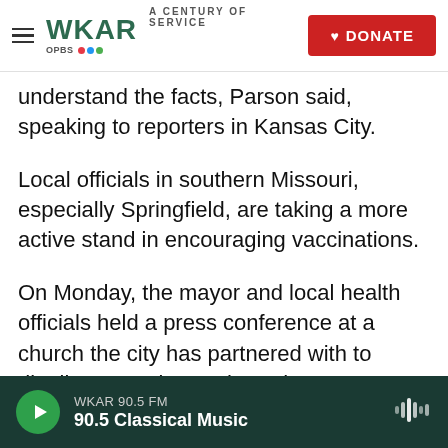WKAR A CENTURY OF SERVICE | DONATE
understand the facts, Parson said, speaking to reporters in Kansas City.
Local officials in southern Missouri, especially Springfield, are taking a more active stand in encouraging vaccinations.
On Monday, the mayor and local health officials held a press conference at a church the city has partnered with to distribute vaccines, where they denounced misinformation and politicization about vaccines.
Asked about the cheers over low vaccination rates
WKAR 90.5 FM | 90.5 Classical Music